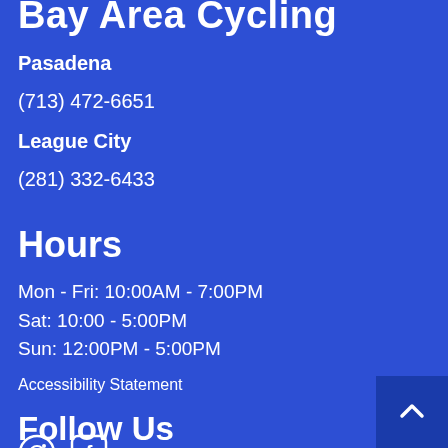Bay Area Cycling
Pasadena
(713) 472-6651
League City
(281) 332-6433
Hours
Mon - Fri: 10:00AM - 7:00PM
Sat: 10:00 - 5:00PM
Sun: 12:00PM - 5:00PM
Accessibility Statement
Follow Us
[Figure (other): Social media icons (Instagram circle, Facebook square) and back-to-top arrow button]